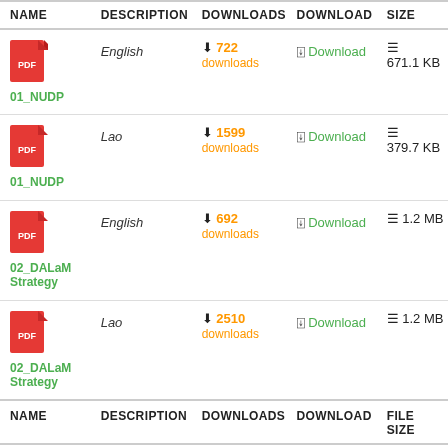| NAME | DESCRIPTION | DOWNLOADS | DOWNLOAD | SIZE |
| --- | --- | --- | --- | --- |
| 01_NUDP | English | 722 downloads | Download | 671.1 KB |
| 01_NUDP | Lao | 1599 downloads | Download | 379.7 KB |
| 02_DALaM Strategy | English | 692 downloads | Download | 1.2 MB |
| 02_DALaM Strategy | Lao | 2510 downloads | Download | 1.2 MB |